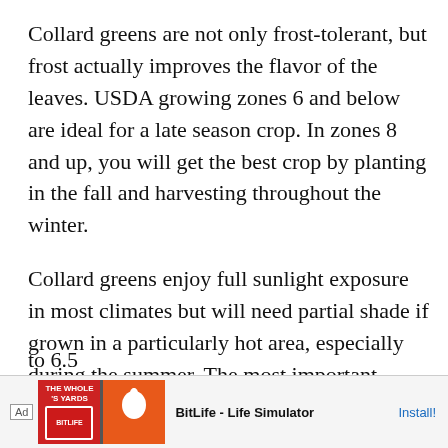Collard greens are not only frost-tolerant, but frost actually improves the flavor of the leaves. USDA growing zones 6 and below are ideal for a late season crop. In zones 8 and up, you will get the best crop by planting in the fall and harvesting throughout the winter.
Collard greens enjoy full sunlight exposure in most climates but will need partial shade if grown in a particularly hot area, especially during the summer. The most important environmental condition for collard greens is a consistently moist and fertile soil. They prefer a slightly acidic soil with a pH around 6.0 to 6.5
[Figure (other): Mobile app advertisement banner for BitLife - Life Simulator with Ad label, game imagery, and Install button]